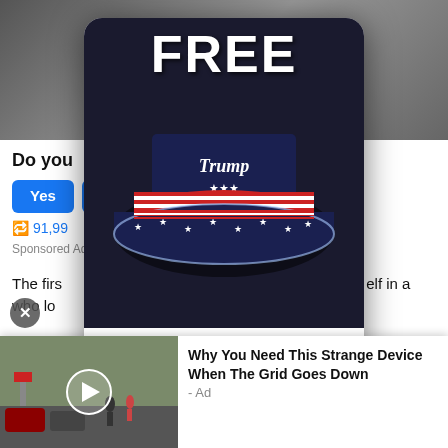[Figure (screenshot): Background article page with image, poll buttons (Yes), share count 91,99..., Sponsored Ad label, and article body text partially visible]
[Figure (photo): Popup advertisement showing a Trump 2024 bucket hat with American flag design (red, white, blue stars and stripes) on dark background with FREE text at top]
FREE
GET Yours ASAP
[Figure (screenshot): Bottom video ad thumbnail showing street scene with cars and people]
Why You Need This Strange Device When The Grid Goes Down - Ad